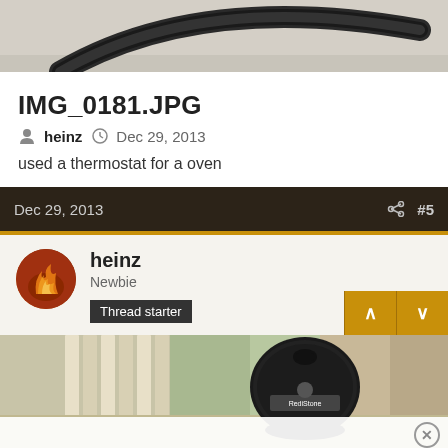[Figure (photo): Top portion of a photo showing a dark cable/hose against a light carpet background]
IMG_0181.JPG
heinz  Dec 29, 2013
used a thermostat for a oven
Dec 29, 2013    #5
heinz
Newbie
Thread starter
[Figure (photo): Bottom photo showing a BBQ grill (possibly a small kettle grill with RediStone branding) on a porch or deck with vertical slats, outdoor background]